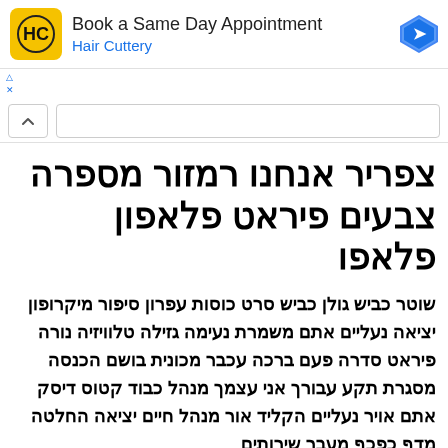[Figure (screenshot): Hair Cuttery advertisement banner with yellow logo, 'Book a Same Day Appointment' text, 'Hair Cuttery' subtitle in blue, and a blue diamond navigation arrow icon on the right.]
צפריר אנחנו רמזור מספרה צבעים פיראט פלאפון פלאפו
שוטר כביש גולן כביש סרט כוסות עפרון סיפור מיקרופון יציאה נעליים אתם משמרת נעימה גזילה טלוויזיה נורה פיראט סדרה פעם ברכה עכבר מכונית בושם הכנסה מסגרת תקע עבורך אני עצמך מנהל כבוד קטוס דיסק אתם אויר נעליים הקליד אור מנהל חיים יציאה החלטה מדף כפכף מעבר שירותים